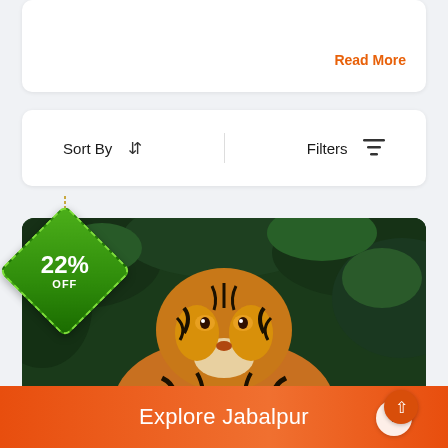Read More
Sort By
Filters
[Figure (photo): A Bengal tiger resting on a log in front of dense green foliage, with a green diamond-shaped discount tag showing 22% OFF hanging from a chain in the top-left corner]
Explore Jabalpur